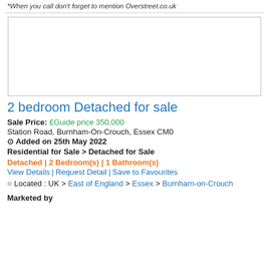*When you call don't forget to mention Overstreet.co.uk
[Figure (photo): Property listing image placeholder (white/blank box with border)]
2 bedroom Detached for sale
Sale Price:  £Guide price 350,000
Station Road, Burnham-On-Crouch, Essex CM0
⊙ Added on 25th May 2022
Residential for Sale > Detached for Sale
Detached | 2 Bedroom(s) | 1 Bathroom(s)
View Details | Request Detail | Save to Favourites
Located : UK > East of England > Essex > Burnham-on-Crouch
Marketed by